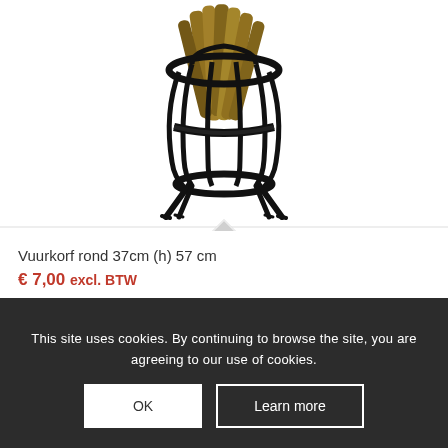[Figure (photo): A round fire basket (vuurkorf) with black metal frame on four legs, containing firewood logs, photographed from slightly above on white background.]
Vuurkorf rond 37cm (h) 57 cm
€ 7,00 excl. BTW
Toevoegen aan
Toon Details
This site uses cookies. By continuing to browse the site, you are agreeing to our use of cookies.